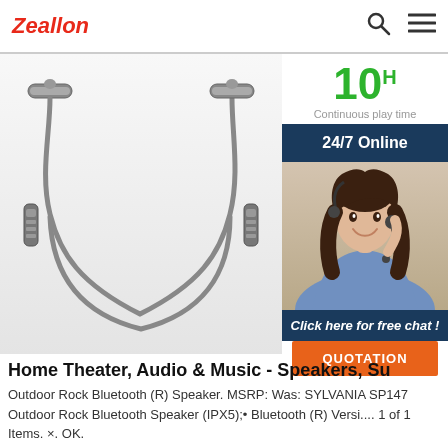Zeallon
[Figure (photo): Bluetooth neckband earphones with metallic cable on white background]
[Figure (infographic): 10h Continuous play time badge, 24/7 Online bar, customer service agent photo, Click here for free chat! text, QUOTATION button]
Home Theater, Audio & Music - Speakers, Su
Outdoor Rock Bluetooth (R) Speaker. MSRP: Was: SYLVANIA SP147 Outdoor Rock Bluetooth Speaker (IPX5);• Bluetooth (R) Versi.... 1 of 1 Items. ×. OK.
Get Price